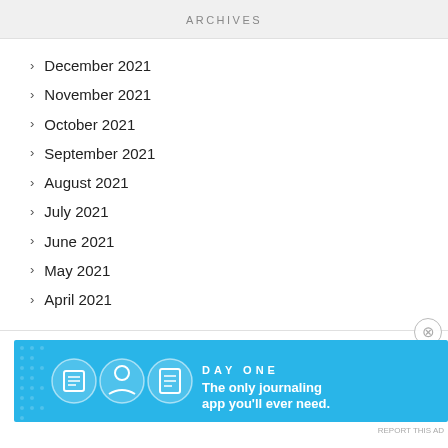ARCHIVES
December 2021
November 2021
October 2021
September 2021
August 2021
July 2021
June 2021
May 2021
April 2021
Advertisements
Advertisements
[Figure (infographic): Day One journaling app advertisement banner. Blue background with app icon circles showing a notebook, person, and document icons. Text reads: DAY ONE – The only journaling app you'll ever need.]